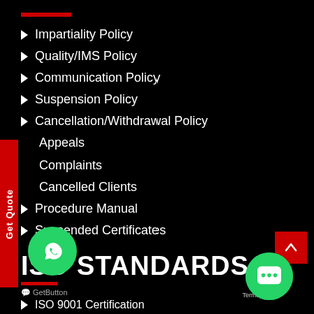Impartiality Policy
Quality/IMS Policy
Communication Policy
Suspension Policy
Cancellation/Withdrawal Policy
Appeals
Complaints
Cancelled Clients
Procedure Manual
Suspended Certificates
ISO STANDARDS
ISO 9001 Certification